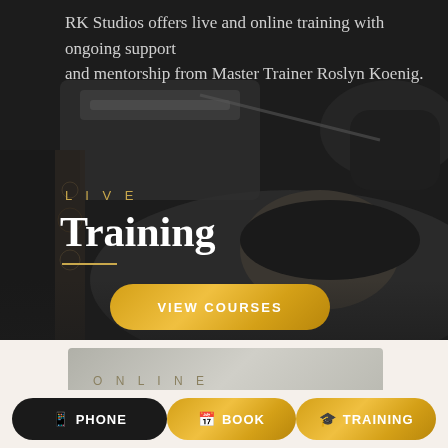RK Studios offers live and online training with ongoing support and mentorship from Master Trainer Roslyn Koenig.
[Figure (photo): Dark background photo of a person lying down receiving a cosmetic/tattoo procedure from gloved hands holding tools]
LIVE
Training
VIEW COURSES
ONLINE
PHONE
BOOK
TRAINING